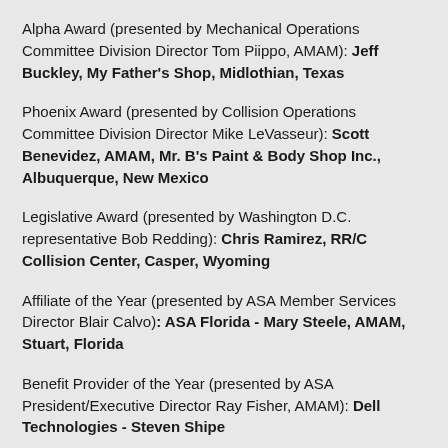Alpha Award (presented by Mechanical Operations Committee Division Director Tom Piippo, AMAM): Jeff Buckley, My Father's Shop, Midlothian, Texas
Phoenix Award (presented by Collision Operations Committee Division Director Mike LeVasseur): Scott Benevidez, AMAM, Mr. B's Paint & Body Shop Inc., Albuquerque, New Mexico
Legislative Award (presented by Washington D.C. representative Bob Redding): Chris Ramirez, RR/C Collision Center, Casper, Wyoming
Affiliate of the Year (presented by ASA Member Services Director Blair Calvo): ASA Florida - Mary Steele, AMAM, Stuart, Florida
Benefit Provider of the Year (presented by ASA President/Executive Director Ray Fisher, AMAM): Dell Technologies - Steven Shipe